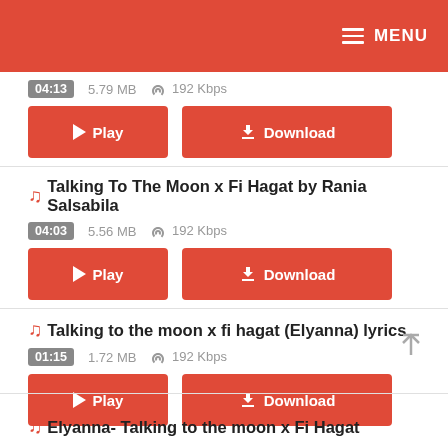MENU
04:13  5.79 MB  192 Kbps
Play  Download
Talking To The Moon x Fi Hagat by Rania Salsabila
04:03  5.56 MB  192 Kbps
Play  Download
Talking to the moon x fi hagat (Elyanna) lyrics
01:15  1.72 MB  192 Kbps
Play  Download
Elyanna- Talking to the moon x Fi Hagat